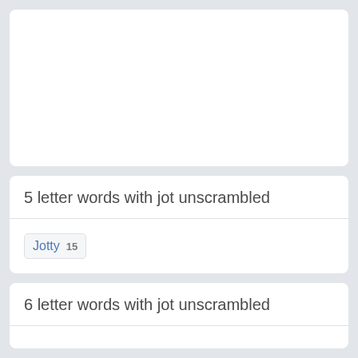[Figure (other): Top white card area (advertisement or blank content area)]
5 letter words with jot unscrambled
Jotty 15
6 letter words with jot unscrambled